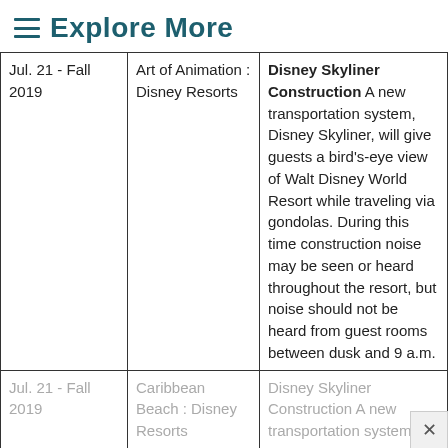Explore More
| Date | Location | Description |
| --- | --- | --- |
| Jul. 21 - Fall 2019 | Art of Animation : Disney Resorts | Disney Skyliner Construction A new transportation system, Disney Skyliner, will give guests a bird's-eye view of Walt Disney World Resort while traveling via gondolas. During this time construction noise may be seen or heard throughout the resort, but noise should not be heard from guest rooms between dusk and 9 a.m. |
| Jul. 21 - Fall 2019 | Caribbean Beach : Disney Resorts | Disney Skyliner Construction A new transportation system... |